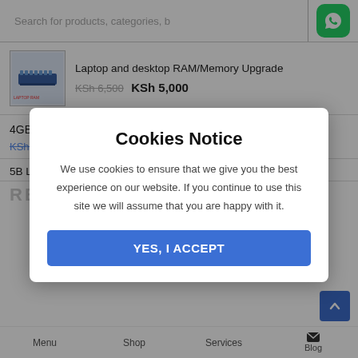Search for products, categories, b
[Figure (logo): WhatsApp green rounded square icon]
Laptop and desktop RAM/Memory Upgrade
KSh 6,500  KSh 5,000
4GB PC3-12800 DDR3 Memory RAM module
KSh 7,000 KSh 2,500
5B Laptop Mem...
RECENT
Cookies Notice
We use cookies to ensure that we give you the best experience on our website. If you continue to use this site we will assume that you are happy with it.
YES, I ACCEPT
Menu  Shop  Services  Blog